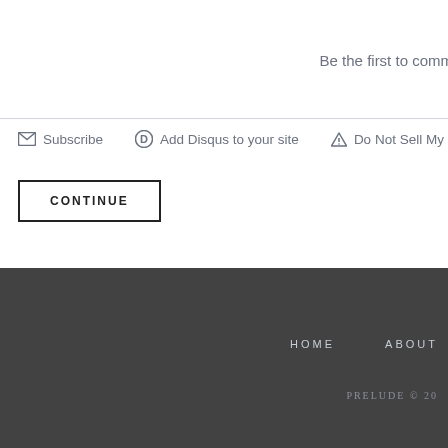Be the first to comment.
Subscribe
Add Disqus to your site
Do Not Sell My Data
CONTINUE
HOME   ABOUT
PRELUDE © 20